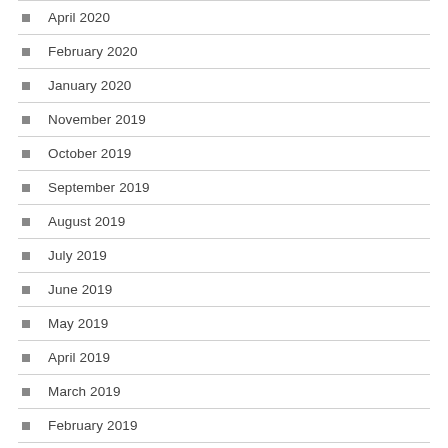April 2020
February 2020
January 2020
November 2019
October 2019
September 2019
August 2019
July 2019
June 2019
May 2019
April 2019
March 2019
February 2019
January 2019
December 2018